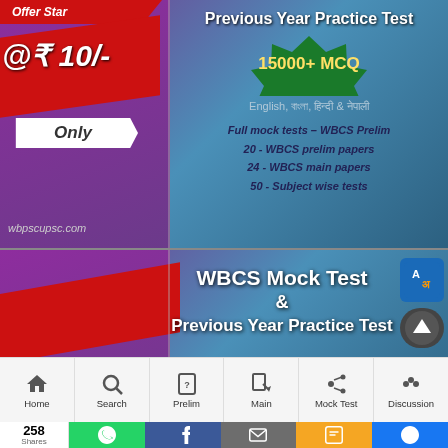[Figure (infographic): WBCS Previous Year Practice Test advertisement banner. Left side purple background with red ribbon showing 'Offer Starts', red price tag '@₹ 10/-', white 'Only' tag. Right side blue-grey background with 'Previous Year Practice Test' heading, green starburst badge '15000+ MCQ', languages 'English, বাংলা, हिन्दी & नेपाली', and features list: Full mock tests – WBCS Prelim, 20 - WBCS prelim papers, 24 - WBCS main papers, 50 - Subject wise tests. Website: wbpscupsc.com]
[Figure (infographic): WBCS Mock Test & Previous Year Practice Test second advertisement banner. Left side purple background with red ribbon 'Offer Starts'. Right side blue-grey with 'WBCS Mock Test & Previous Year Practice Test'. Translate icon and scroll-to-top button visible.]
Home
Search
Prelim
Main
Mock Test
Discussion
258 Shares